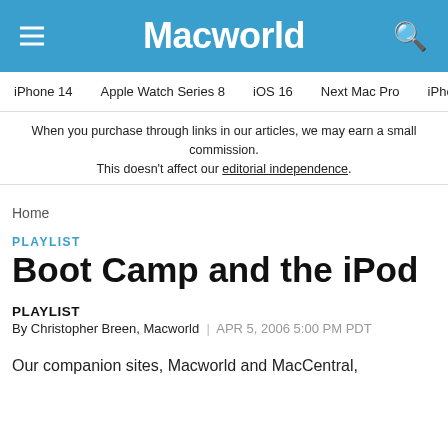Macworld
iPhone 14 | Apple Watch Series 8 | iOS 16 | Next Mac Pro | iPhone d
When you purchase through links in our articles, we may earn a small commission. This doesn't affect our editorial independence.
Home
PLAYLIST
Boot Camp and the iPod
PLAYLIST
By Christopher Breen, Macworld | APR 5, 2006 5:00 PM PDT
Our companion sites, Macworld and MacCentral,